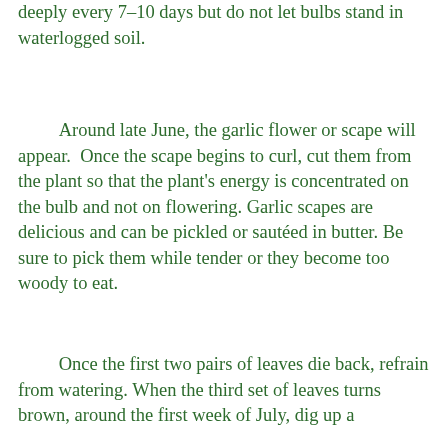deeply every 7–10 days but do not let bulbs stand in waterlogged soil.
Around late June, the garlic flower or scape will appear. Once the scape begins to curl, cut them from the plant so that the plant's energy is concentrated on the bulb and not on flowering. Garlic scapes are delicious and can be pickled or sautéed in butter. Be sure to pick them while tender or they become too woody to eat.
Once the first two pairs of leaves die back, refrain from watering. When the third set of leaves turns brown, around the first week of July, dig up a